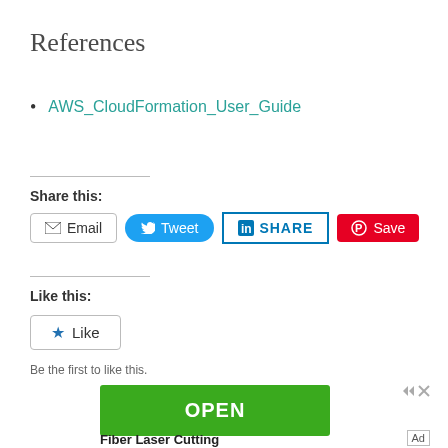References
AWS_CloudFormation_User_Guide
Share this:
[Figure (infographic): Social share buttons: Email, Tweet, SHARE (LinkedIn), Save (Pinterest)]
Like this:
[Figure (infographic): Like button widget]
Be the first to like this.
[Figure (infographic): Advertisement: green OPEN button and Fiber Laser Cutting text]